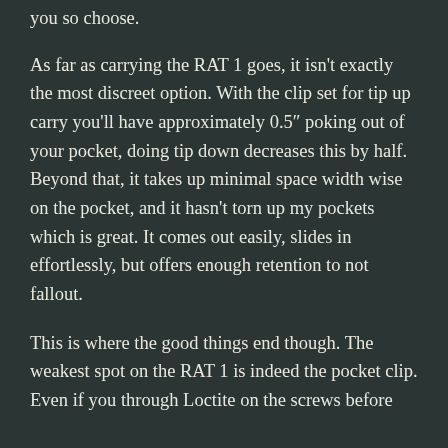you so choose.
As far as carrying the RAT 1 goes, it isn't exactly the most discreet option. With the clip set for tip up carry you'll have approximately 0.5″ poking out of your pocket, doing tip down decreases this by half. Beyond that, it takes up minimal space width wise on the pocket, and it hasn't torn up my pockets which is great. It comes out easily, slides in effortlessly, but offers enough retention to not fallout.
This is where the good things end though. The weakest spot on the RAT 1 is indeed the pocket clip. Even if you through Loctite on the screws before